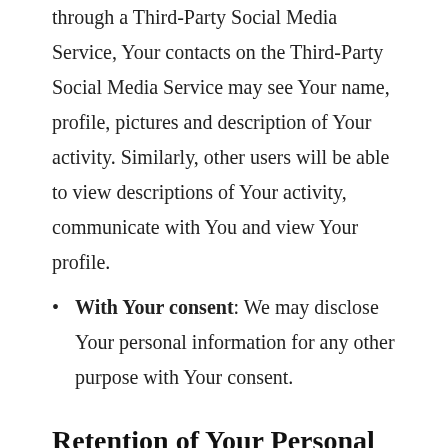through a Third-Party Social Media Service, Your contacts on the Third-Party Social Media Service may see Your name, profile, pictures and description of Your activity. Similarly, other users will be able to view descriptions of Your activity, communicate with You and view Your profile.
With Your consent: We may disclose Your personal information for any other purpose with Your consent.
Retention of Your Personal Data